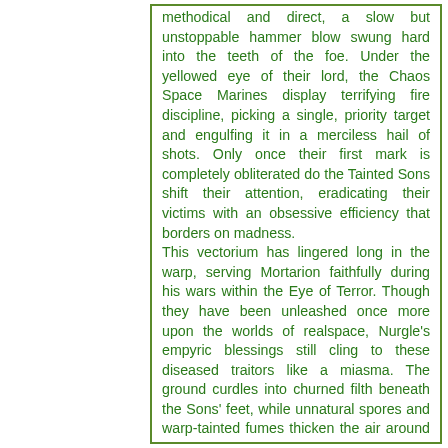methodical and direct, a slow but unstoppable hammer blow swung hard into the teeth of the foe. Under the yellowed eye of their lord, the Chaos Space Marines display terrifying fire discipline, picking a single, priority target and engulfing it in a merciless hail of shots. Only once their first mark is completely obliterated do the Tainted Sons shift their attention, eradicating their victims with an obsessive efficiency that borders on madness.
This vectorium has lingered long in the warp, serving Mortarion faithfully during his wars within the Eye of Terror. Though they have been unleashed once more upon the worlds of realspace, Nurgle's empyric blessings still cling to these diseased traitors like a miasma. The ground curdles into churned filth beneath the Sons' feet, while unnatural spores and warp-tainted fumes thicken the air around them. Nothing natural can survive for long in the presence of these virulent Death Guard, as virulent Hashos the disciplined...